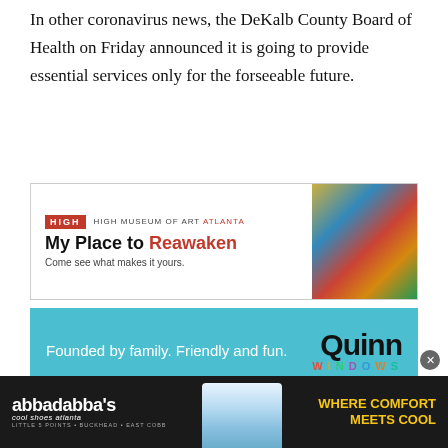In other coronavirus news, the DeKalb County Board of Health on Friday announced it is going to provide essential services only for the forseeable future.
[Figure (photo): High Museum of Art Atlanta advertisement: 'My Place to Reawaken – Come see what makes it yours.' with colorful artwork image on right.]
[Figure (photo): Quinn Windows advertisement: 'Founded by family. Friendly and fun.' on teal background with Quinn Windows branding.]
Here is the full announcement:
DECATUR, Ga. – To aid in the COVID-19 response and to facilitate physical distancing, the DeKalb County Board
[Figure (photo): Abbadabba's Cool Shoes Atlanta advertisement: 'Where Comfort Meets Cool' on dark background with shoe image. Locations: Little 5 Points • Buckhead • East Cobb.]